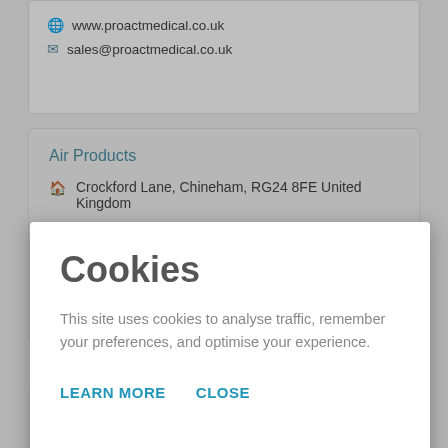www.proactmedical.co.uk
sales@proactmedical.co.uk
Air Products
Crockford Lane, Chineham, RG24 8FE United Kingdom
0800 389 0202
01270 612708
Cookies
This site uses cookies to analyse traffic, remember your preferences, and optimise your experience.
LEARN MORE
CLOSE
Cardiac Services
Europa House, Adlington Business Park, Adlington, SK10